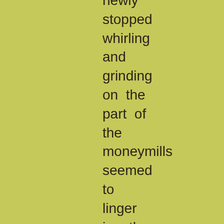newly stopped whirling and grinding on the part of the moneymills seemed to linger in the air, and the quiet was more